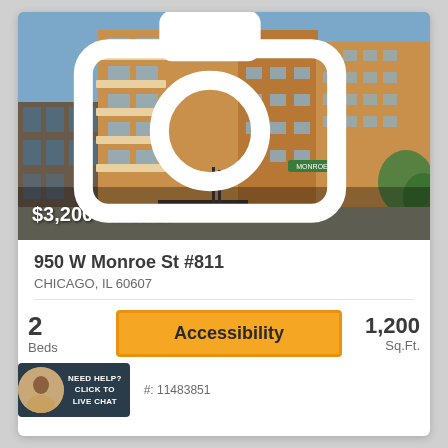[Figure (photo): Exterior photo of a multi-story brick apartment building at a street corner in Chicago. Blue sky background. Price overlay '$3,200 / month' at bottom left. Photo count '17' with camera icon at bottom right.]
950 W Monroe St #811
CHICAGO, IL 60607
2
Beds
Accessibility
1,200
Sq.Ft.
#: 11483851